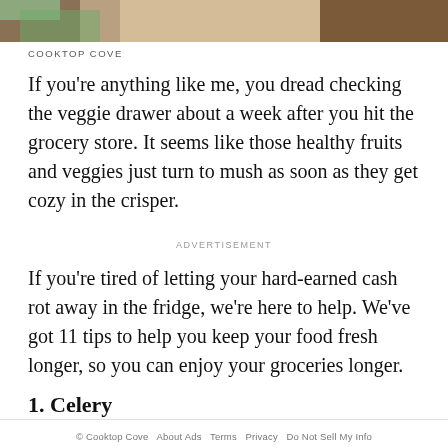[Figure (photo): Partial photo strip showing food/vegetable imagery with green and brown tones]
COOKTOP COVE
If you're anything like me, you dread checking the veggie drawer about a week after you hit the grocery store. It seems like those healthy fruits and veggies just turn to mush as soon as they get cozy in the crisper.
ADVERTISEMENT
If you're tired of letting your hard-earned cash rot away in the fridge, we're here to help. We've got 11 tips to help you keep your food fresh longer, so you can enjoy your groceries longer.
1. Celery
© Cooktop Cove   About Ads   Terms   Privacy   Do Not Sell My Info